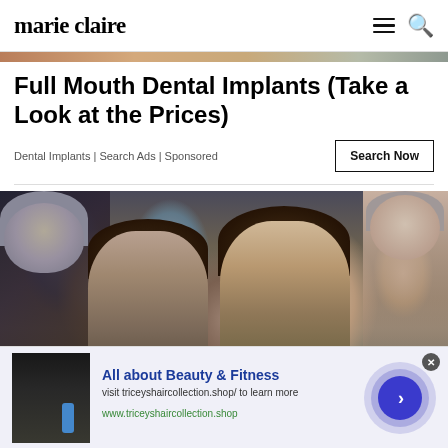marie claire
Full Mouth Dental Implants (Take a Look at the Prices)
Dental Implants | Search Ads | Sponsored
[Figure (photo): Group of smiling people in stands, including two young brunette women in foreground and older man and woman behind them]
[Figure (infographic): Bottom advertisement banner: thumbnail image of person, text 'All about Beauty & Fitness', 'visit triceyshaircollection.shop/ to learn more', 'www.triceyshaircollection.shop', with blue circular CTA arrow button]